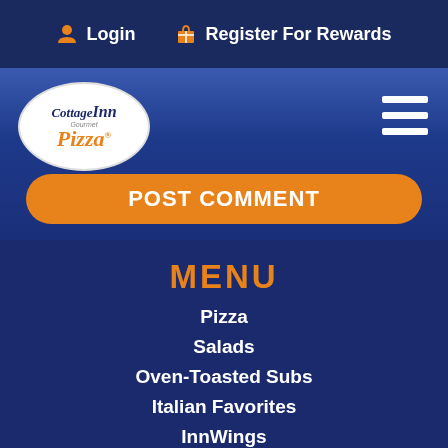Login  Register For Rewards
[Figure (logo): Cottage Inn Gourmet Pizza logo in white oval, with hamburger menu icon on the right]
POST COMMENT
MENU
Pizza
Salads
Oven-Toasted Subs
Italian Favorites
InnWings
InnStix / Cheesebread
Inn Desserts
Gluten Free Menu